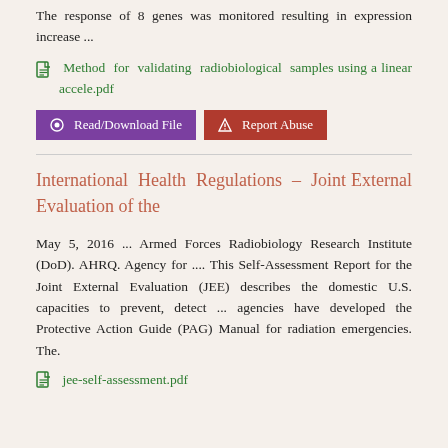The response of 8 genes was monitored resulting in expression increase ...
Method for validating radiobiological samples using a linear accele.pdf
Read/Download File   Report Abuse
International Health Regulations – Joint External Evaluation of the
May 5, 2016 ... Armed Forces Radiobiology Research Institute (DoD). AHRQ. Agency for .... This Self-Assessment Report for the Joint External Evaluation (JEE) describes the domestic U.S. capacities to prevent, detect ... agencies have developed the Protective Action Guide (PAG) Manual for radiation emergencies. The.
jee-self-assessment.pdf